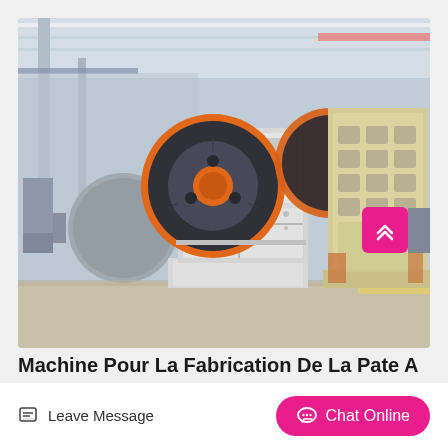[Figure (photo): Industrial jaw crusher machine in a manufacturing facility. A large gray/white jaw crusher with an orange-rimmed flywheel is in the center foreground. A yellow/cream-colored impact crusher is visible to the right. The setting is a large industrial factory floor with steel beams, overhead cranes, and various other heavy machinery.]
Machine Pour La Fabrication De La Pate A
Leave Message
Chat Online